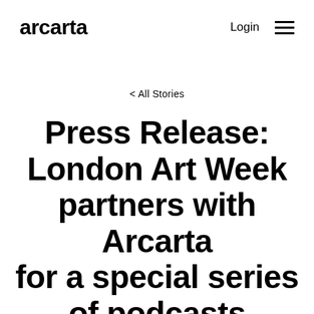arcarta   Login ≡
< All Stories
Press Release: London Art Week partners with Arcarta for a special series of podcasts